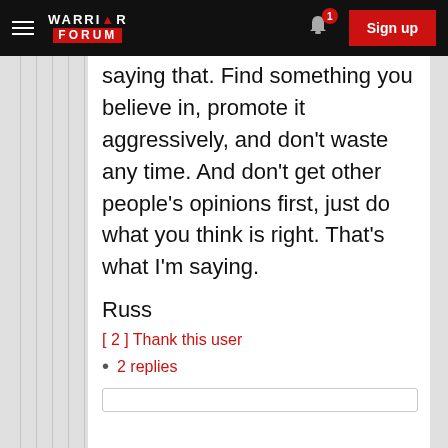Warrior Forum | Sign up
saying that. Find something you believe in, promote it aggressively, and don't waste any time. And don't get other people's opinions first, just do what you think is right. That's what I'm saying.
Russ
[2] Thank this user
2 replies